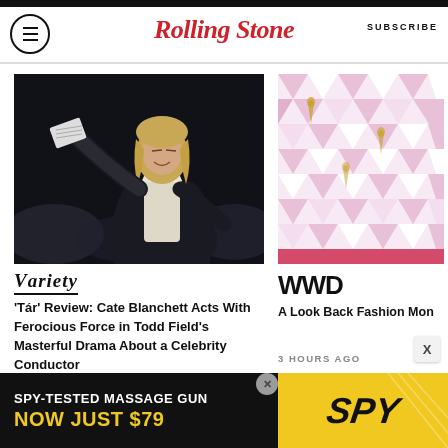Rolling Stone | SUBSCRIBE
[Figure (photo): Person conducting an orchestra, dressed in black with white collar, holding sheet music, eyes closed, dramatic motion]
[Figure (logo): Variety magazine logo in italic serif font with small caps]
'Tár' Review: Cate Blanchett Acts With Ferocious Force in Todd Field's Masterful Drama About a Celebrity Conductor
3 HOURS AGO
[Figure (photo): Oscars red carpet with geometric pattern backdrop featuring Oscar statuette designs in pink and white]
[Figure (logo): WWD logo in bold black sans-serif]
A Look Back Fashion Mon
3 HOURS AGO
[Figure (infographic): Advertisement banner: SPY-TESTED MASSAGE GUN NOW JUST $79 with SPY logo on yellow background]